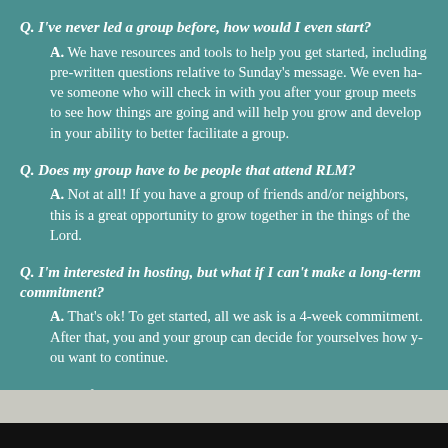Q. I've never led a group before, how would I even start?
A. We have resources and tools to help you get started, including pre-written questions relative to Sunday's message. We even have someone who will check in with you after your group meets to see how things are going and will help you grow and develop in your ability to better facilitate a group.
Q. Does my group have to be people that attend RLM?
A. Not at all! If you have a group of friends and/or neighbors, this is a great opportunity to grow together in the things of the Lord.
Q. I'm interested in hosting, but what if I can't make a long-term commitment?
A. That's ok! To get started, all we ask is a 4-week commitment. After that, you and your group can decide for yourselves how you want to continue.
For more information, or to get started, click to send us an e